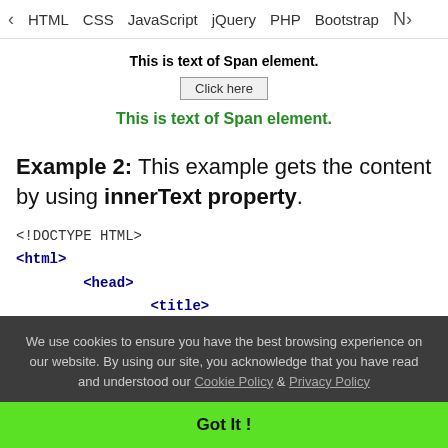< HTML  CSS  JavaScript  jQuery  PHP  Bootstrap  N>
[Figure (screenshot): Demo output showing bold text 'This is text of Span element.', a 'Click here' button, and green bold text 'This is text of Span element.']
Example 2: This example gets the content by using innerText property.
<!DOCTYPE HTML>
<html>
    <head>
        <title>
We use cookies to ensure you have the best browsing experience on our website. By using our site, you acknowledge that you have read and understood our Cookie Policy & Privacy Policy
Got It !